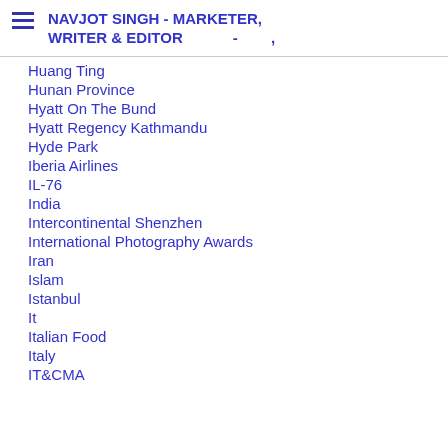NAVJOT SINGH - MARKETER, WRITER & EDITOR - ,
Huang Ting
Hunan Province
Hyatt On The Bund
Hyatt Regency Kathmandu
Hyde Park
Iberia Airlines
IL-76
India
Intercontinental Shenzhen
International Photography Awards
Iran
Islam
Istanbul
It
Italian Food
Italy
IT&CMA